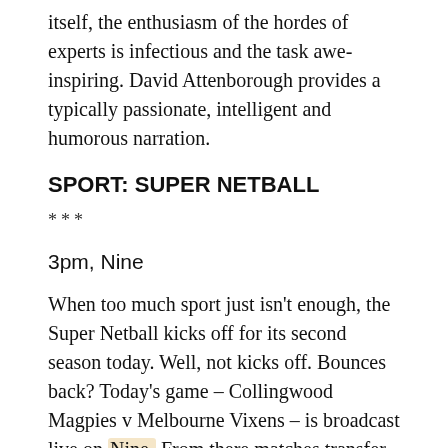itself, the enthusiasm of the hordes of experts is infectious and the task awe-inspiring. David Attenborough provides a typically passionate, intelligent and humorous narration.
SPORT: SUPER NETBALL
***
3pm, Nine
When too much sport just isn't enough, the Super Netball kicks off for its second season today. Well, not kicks off. Bounces back? Today's game – Collingwood Magpies v Melbourne Vixens – is broadcast live on Nine. From there matches transfer to Gem. For all of them, Liz Ellis, Cath Cox, Annie Sargeant, Sue